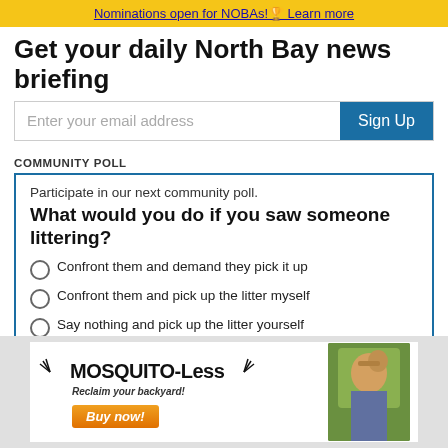Nominations open for NOBAs! Learn more
Get your daily North Bay news briefing
Enter your email address
COMMUNITY POLL
Participate in our next community poll.
What would you do if you saw someone littering?
Confront them and demand they pick it up
Confront them and pick up the litter myself
Say nothing and pick up the litter yourself
Say nothing and leave the litter where it is
[Figure (advertisement): MOSQUITO-Less advertisement with mosquito graphics, 'Reclaim your backyard!' tagline, 'Buy now!' button, and photo of woman relaxing outdoors]